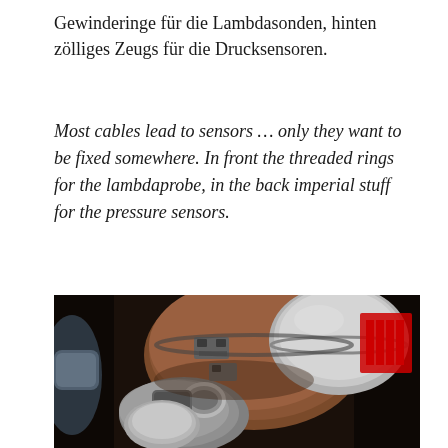Gewinderinge für die Lambdasonden, hinten zölliges Zeugs für die Drucksensoren.
Most cables lead to sensors … only they want to be fixed somewhere. In front the threaded rings for the lambdaprobe, in the back imperial stuff for the pressure sensors.
[Figure (photo): Close-up photograph of a turbocharger assembly showing the turbine housing and exhaust manifold connection, with metal components including mounting brackets and exhaust piping, dark background with a red logo visible in the upper right corner.]